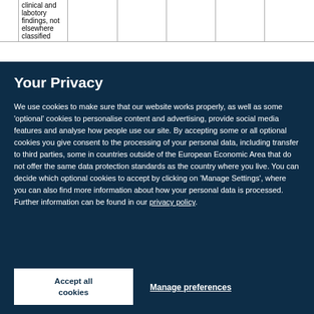| clinical and labotory findings, not elsewhere classified |  |  |  |  |  |  |
Your Privacy
We use cookies to make sure that our website works properly, as well as some 'optional' cookies to personalise content and advertising, provide social media features and analyse how people use our site. By accepting some or all optional cookies you give consent to the processing of your personal data, including transfer to third parties, some in countries outside of the European Economic Area that do not offer the same data protection standards as the country where you live. You can decide which optional cookies to accept by clicking on 'Manage Settings', where you can also find more information about how your personal data is processed. Further information can be found in our privacy policy.
Accept all cookies
Manage preferences